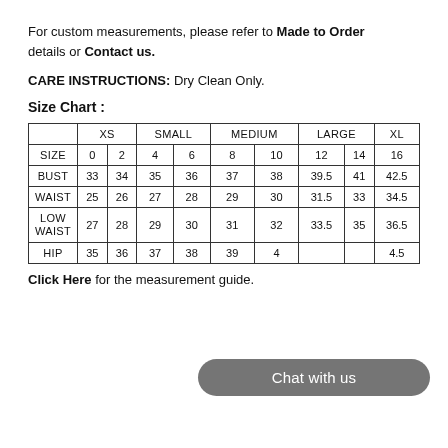For custom measurements, please refer to Made to Order details or Contact us.
CARE INSTRUCTIONS: Dry Clean Only.
Size Chart :
|  | XS |  | SMALL |  | MEDIUM |  | LARGE |  | XL |
| --- | --- | --- | --- | --- | --- | --- | --- | --- | --- |
| SIZE | 0 | 2 | 4 | 6 | 8 | 10 | 12 | 14 | 16 |
| BUST | 33 | 34 | 35 | 36 | 37 | 38 | 39.5 | 41 | 42.5 |
| WAIST | 25 | 26 | 27 | 28 | 29 | 30 | 31.5 | 33 | 34.5 |
| LOW WAIST | 27 | 28 | 29 | 30 | 31 | 32 | 33.5 | 35 | 36.5 |
| HIP | 35 | 36 | 37 | 38 | 39 | 4[…] | … | … | 4.5 |
Click Here for the measurement guide.